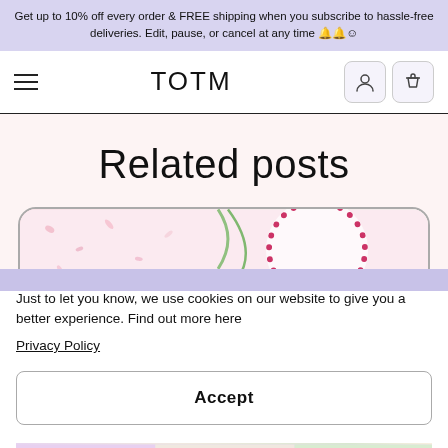Get up to 10% off every order & FREE shipping when you subscribe to hassle-free deliveries. Edit, pause, or cancel at any time 🔔🔔☺
[Figure (screenshot): TOTM website navigation bar with hamburger menu, TOTM logo, user account icon and shopping bag icon]
Related posts
[Figure (photo): Partial view of a card with floral background and a plate with dotted pink border]
Just to let you know, we use cookies on our website to give you a better experience. Find out more here
Privacy Policy
Accept
[Figure (photo): Bottom strip showing partial images of blog post cards with floral and nature themes]